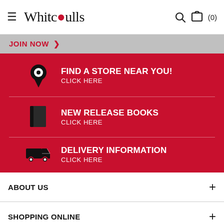≡ Whitcoulls  🔍  🛒 (0)
JOIN NOW >
[Figure (infographic): Red banner with three clickable items: 1) Location pin icon - FIND A STORE NEAR YOU! CLICK HERE; 2) Book icon - NEW RELEASE BOOKS CLICK HERE; 3) Delivery truck icon - DELIVERY INFORMATION CLICK HERE]
ABOUT US +
SHOPPING ONLINE +
WHAT'S HAPPENING +